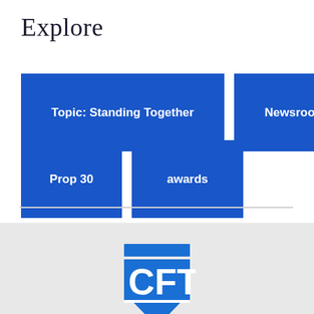Explore
Topic: Standing Together
Newsroom
Prop 30
awards
[Figure (logo): CFT (California Federation of Teachers) shield logo in blue]